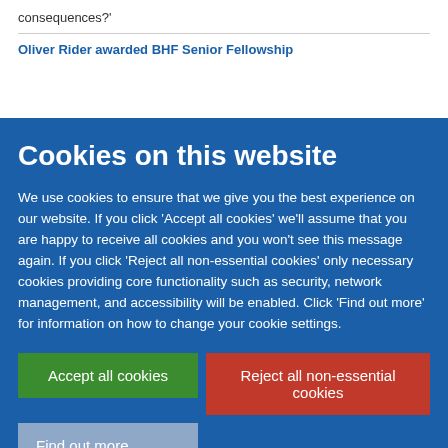consequences?'
Oliver Rider awarded BHF Senior Fellowship
Cookies on this website
We use cookies to ensure that we give you the best experience on our website. If you click 'Accept all cookies' we'll assume that you are happy to receive all cookies and you won't see this message again. If you click 'Reject all non-essential cookies' only necessary cookies providing core functionality such as security, network management, and accessibility will be enabled. Click 'Find out more' for information on how to change your cookie settings.
Accept all cookies
Reject all non-essential cookies
Find out more